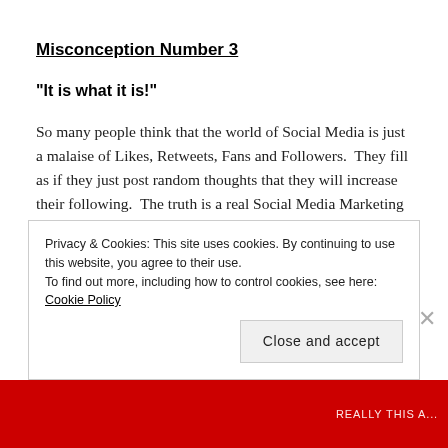Misconception Number 3
“It is what it is!”
So many people think that the world of Social Media is just a malaise of Likes, Retweets, Fans and Followers.  They fill as if they just post random thoughts that they will increase their following.  The truth is a real Social Media Marketing strategy is far more cerebral than that.  There is software out there that helps to measure the effectiveness of your content, the
Privacy & Cookies: This site uses cookies. By continuing to use this website, you agree to their use.
To find out more, including how to control cookies, see here: Cookie Policy
Close and accept
REALLYTHIS A...